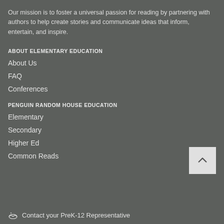Our mission is to foster a universal passion for reading by partnering with authors to help create stories and communicate ideas that inform, entertain, and inspire.
ABOUT ELEMENTARY EDUCATION
About Us
FAQ
Conferences
PENGUIN RANDOM HOUSE EDUCATION
Elementary
Secondary
Higher Ed
Common Reads
Contact your PreK-12 Representative